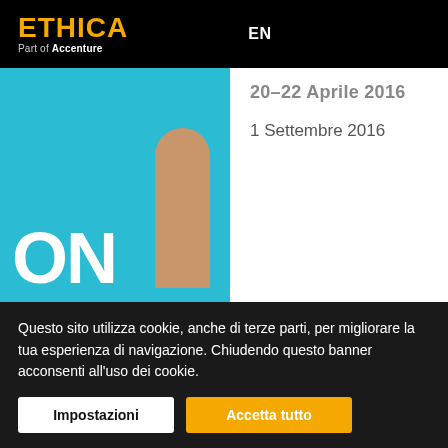ETHICA Part of Accenture | EN
[Figure (screenshot): Website screenshot showing a cyan/blue background with large white letters 'ON' and a hand/arm shape, partial view of an event page]
20–22 Aprile 2016
1 Settembre 2016
Questo sito utilizza cookie, anche di terze parti, per migliorare la tua esperienza di navigazione. Chiudendo questo banner acconsenti all'uso dei cookie.
Impostazioni
Accetta tutto